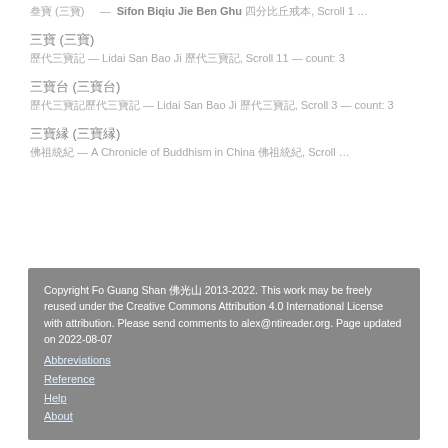叁寶 (三寶) — Sifon Biqiu Jie Ben Ghu 四分比丘戒本, Scroll 1 …
三寶 (三寶)
歷代三寶記 — Lidai San Bao Ji 歷代三寶記, Scroll 11 — count: 3
三寶台 (三寶台)
歷代三寶記歷代三寶記 — Lidai San Bao Ji 歷代三寶記, Scroll 3 — count: 3
三寶縁 (三寶縁)
佛祖統紀 — A Chronicle of Buddhism in China 佛祖統紀, Scroll …
Copyright Fo Guang Shan 佛光山 2013-2022. This work may be freely reused under the Creative Commons Attribution 4.0 International License with attribution. Please send comments to alex@ntireader.org. Page updated on 2022-08-07
Abbreviations
Reference
Help
About